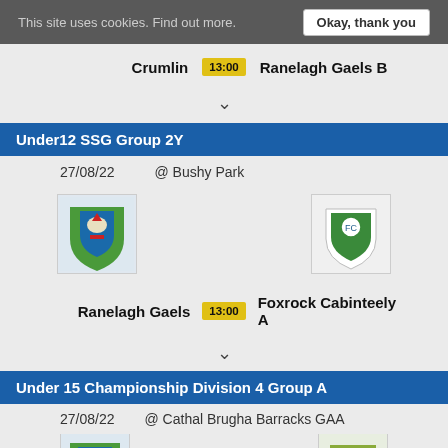This site uses cookies. Find out more.    Okay, thank you
Crumlin   13:00   Ranelagh Gaels B
▾
Under12 SSG Group 2Y
27/08/22   @ Bushy Park
[Figure (logo): Ranelagh Gaels club crest (left)]
[Figure (logo): Foxrock Cabinteely club crest (right)]
Ranelagh Gaels   13:00   Foxrock Cabinteely A
▾
Under 15 Championship Division 4 Group A
27/08/22   @ Cathal Brugha Barracks GAA
[Figure (logo): Ranelagh Gaels club crest (bottom left)]
[Figure (logo): Opponent club crest (bottom right)]